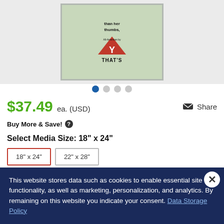[Figure (photo): Product image of a framed poster with green background and YMCA-style illustration, shown in silver frame]
$37.49 ea. (USD)
Buy More & Save!
Select Media Size: 18" x 24"
18" x 24"
22" x 28"
Select Color: Silver
This website stores data such as cookies to enable essential site functionality, as well as marketing, personalization, and analytics. By remaining on this website you indicate your consent. Data Storage Policy